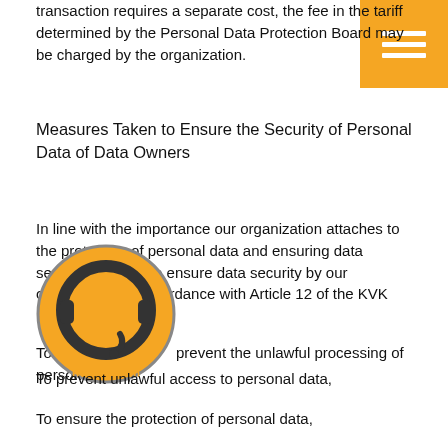transaction requires a separate cost, the fee in the tariff determined by the Personal Data Protection Board may be charged by the organization.
[Figure (other): Orange hamburger menu button in top-right corner]
Measures Taken to Ensure the Security of Personal Data of Data Owners
In line with the importance our organization attaches to the protection of personal data and ensuring data security, in order to ensure data security by our organization in accordance with Article 12 of the KVK Law,
To prevent the unlawful processing of personal data,
[Figure (logo): Orange circular headset/customer support icon with 'Rezervasyon' label]
To prevent unlawful access to personal data,
To ensure the protection of personal data,